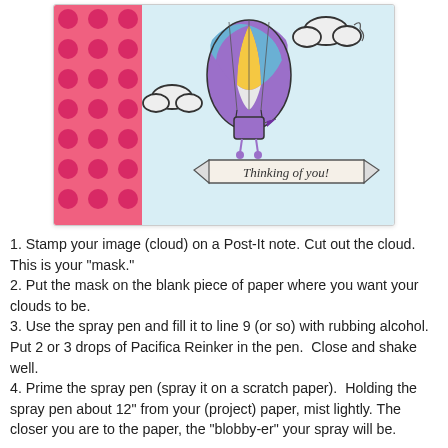[Figure (illustration): A handmade greeting card with a hot air balloon illustration. On the left side is pink/red polka-dot patterned paper. The main card section on a light blue background shows a colorful hot air balloon with purple, yellow, and blue panels floating among hand-drawn clouds. A banner ribbon at the bottom reads 'Thinking of you!' in handwritten script.]
1. Stamp your image (cloud) on a Post-It note.  Cut out the cloud.  This is your "mask."
2. Put the mask on the blank piece of paper where you want your clouds to be.
3. Use the spray pen and fill it to line 9 (or so) with rubbing alcohol.  Put 2 or 3 drops of Pacifica Reinker in the pen.  Close and shake well.
4.  Prime the spray pen (spray it on a scratch paper).  Holding the spray pen about 12" from your (project) paper, mist lightly.  The closer you are to the paper, the "blobby-er" your spray will be.